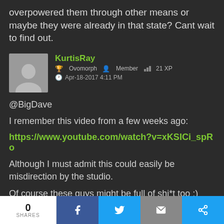overpowered them through other means or maybe they were already in that state? Cant wait to find out.
KurtisRay
Ovomorph  Member  21 XP
Apr-18-2017 4:11 PM
@BigDave
I remember this video from a few weeks ago:
https://www.youtube.com/watch?v=xKSICi_spRo
Although I must admit this could easily be misdirection by the studio.
Of course these guys might be full of shi*t too :)
0 SHARES